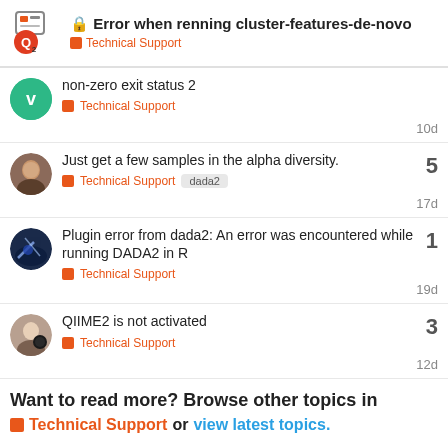Error when renning cluster-features-de-novo — Technical Support
non-zero exit status 2 — Technical Support — 10d
Just get a few samples in the alpha diversity. — Technical Support — dada2 — 17d — 5 replies
Plugin error from dada2: An error was encountered while running DADA2 in R — Technical Support — 19d — 1 reply
QIIME2 is not activated — Technical Support — 12d — 3 replies
Want to read more? Browse other topics in
Technical Support or view latest topics.